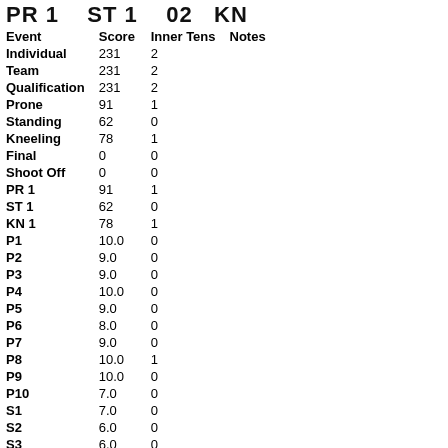PR 1   ST 1   02   KN
| Event | Score | Inner Tens | Notes |
| --- | --- | --- | --- |
| Individual | 231 | 2 |  |
| Team | 231 | 2 |  |
| Qualification | 231 | 2 |  |
| Prone | 91 | 1 |  |
| Standing | 62 | 0 |  |
| Kneeling | 78 | 1 |  |
| Final | 0 | 0 |  |
| Shoot Off | 0 | 0 |  |
| PR 1 | 91 | 1 |  |
| ST 1 | 62 | 0 |  |
| KN 1 | 78 | 1 |  |
| P1 | 10.0 | 0 |  |
| P2 | 9.0 | 0 |  |
| P3 | 9.0 | 0 |  |
| P4 | 10.0 | 0 |  |
| P5 | 9.0 | 0 |  |
| P6 | 8.0 | 0 |  |
| P7 | 9.0 | 0 |  |
| P8 | 10.0 | 1 |  |
| P9 | 10.0 | 0 |  |
| P10 | 7.0 | 0 |  |
| S1 | 7.0 | 0 |  |
| S2 | 6.0 | 0 |  |
| S3 | 6.0 | 0 |  |
| S4 | 8.0 | 0 |  |